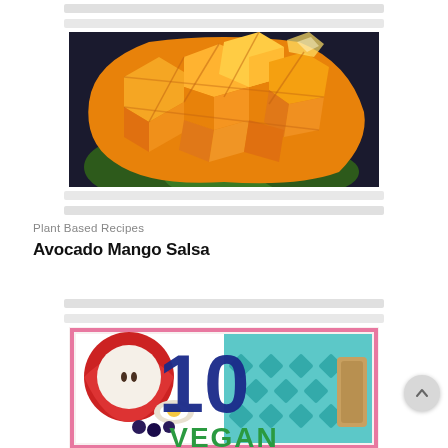[Figure (photo): Close-up photo of sliced mango cut in a crosshatch/cube pattern showing bright orange-yellow flesh pieces fanned out on a dark surface with green herbs visible beneath]
Plant Based Recipes
Avocado Mango Salsa
[Figure (infographic): Bottom banner image showing food items with large bold text reading '10' in dark blue and 'VEGAN' in green, with a pink border frame, featuring images of apple slices, eggs, and other foods on a decorative teal diamond-pattern background]